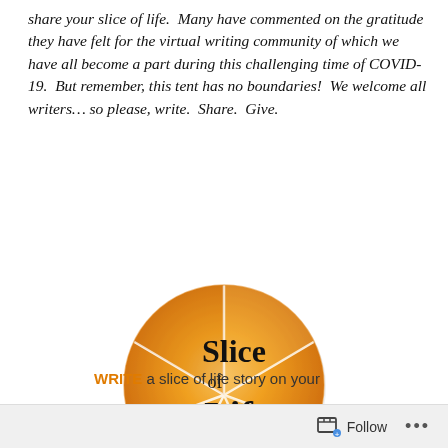share your slice of life.  Many have commented on the gratitude they have felt for the virtual writing community of which we have all become a part during this challenging time of COVID-19.  But remember, this tent has no boundaries!  We welcome all writers… so please, write.  Share.  Give.
[Figure (logo): Slice of Life logo: orange citrus slice circle with white segment lines, text 'Slice of Life' in black serif font, URL http://twowritingteachers.org at bottom]
WRITE a slice of life story on your own blog
Follow ...